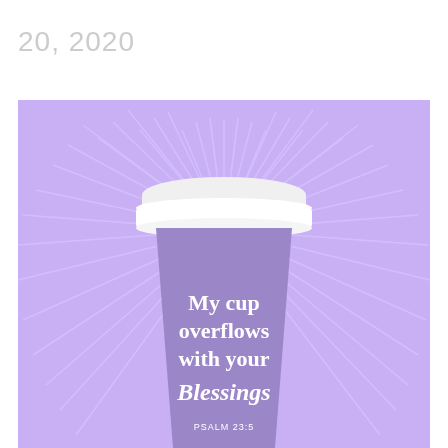20, 2020
[Figure (illustration): Illustration of a white to-go coffee cup on a lavender/purple background with radiating burst lines. The cup reads: 'My cup overflows with your Blessings' with 'PSALM 23:5' at the bottom of the cup.]